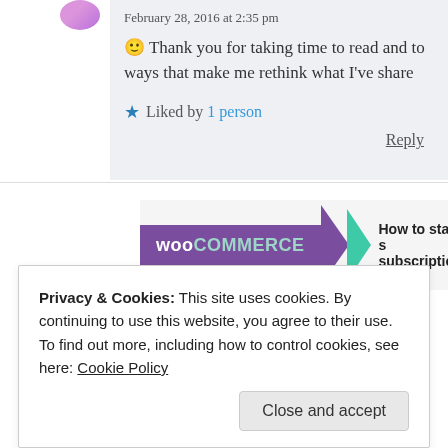February 28, 2016 at 2:35 pm
🙂 Thank you for taking time to read and to ways that make me rethink what I've share
★ Liked by 1 person
Reply
[Figure (screenshot): WooCommerce advertisement banner with purple logo and teal triangle, with text 'How to start s subscriptions']
Privacy & Cookies: This site uses cookies. By continuing to use this website, you agree to their use.
To find out more, including how to control cookies, see here: Cookie Policy
Close and accept